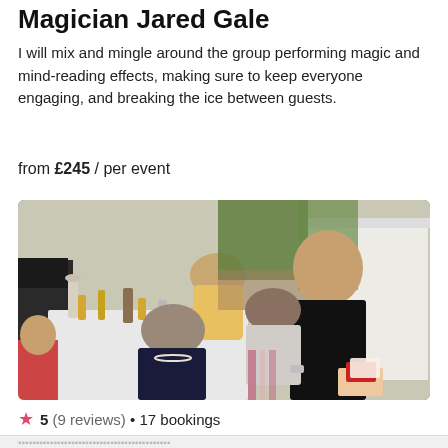Magician Jared Gale
I will mix and mingle around the group performing magic and mind-reading effects, making sure to keep everyone engaging, and breaking the ice between guests.
from £245 / per event
[Figure (photo): A magician in a black long-sleeve shirt performs a card trick for an elderly woman seated at an outdoor party table. Other guests and a marquee tent are visible in the background.]
5 (9 reviews) • 17 bookings